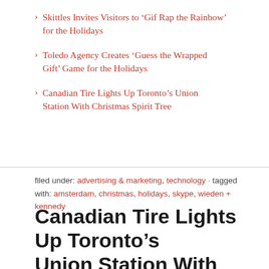Skittles Invites Visitors to ‘Gif Rap the Rainbow’ for the Holidays
Toledo Agency Creates ‘Guess the Wrapped Gift’ Game for the Holidays
Canadian Tire Lights Up Toronto’s Union Station With Christmas Spirit Tree
filed under: advertising & marketing, technology · tagged with: amsterdam, christmas, holidays, skype, wieden + kennedy
Canadian Tire Lights Up Toronto’s Union Station With Christmas Spirit Tree